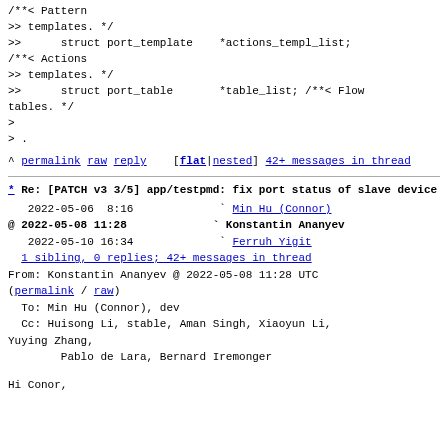/**< Pattern
>> templates. */
>>      struct port_template    *actions_templ_list;
/**< Actions
>> templates. */
>>      struct port_table       *table_list; /**< Flow
tables. */
>
> .
^ permalink raw reply    [flat|nested] 42+ messages in thread
* Re: [PATCH v3 3/5] app/testpmd: fix port status of slave device
2022-05-06  8:16             ` Min Hu (Connor)
@ 2022-05-08 11:28             ` Konstantin Ananyev
   2022-05-10 16:34             ` Ferruh Yigit
  1 sibling, 0 replies; 42+ messages in thread
From: Konstantin Ananyev @ 2022-05-08 11:28 UTC
(permalink / raw)
  To: Min Hu (Connor), dev
  Cc: Huisong Li, stable, Aman Singh, Xiaoyun Li,
Yuying Zhang,
        Pablo de Lara, Bernard Iremonger
Hi Conor,